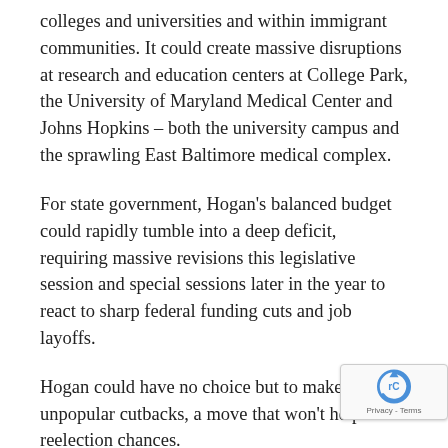colleges and universities and within immigrant communities. It could create massive disruptions at research and education centers at College Park, the University of Maryland Medical Center and Johns Hopkins – both the university campus and the sprawling East Baltimore medical complex.
For state government, Hogan's balanced budget could rapidly tumble into a deep deficit, requiring massive revisions this legislative session and special sessions later in the year to react to sharp federal funding cuts and job layoffs.
Hogan could have no choice but to make highly unpopular cutbacks, a move that won't help his reelection chances.
It could be a hard life for …
[Figure (logo): reCAPTCHA badge with Google reCAPTCHA logo and Privacy - Terms links]